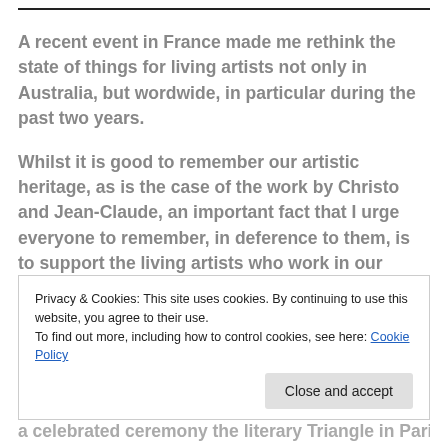A recent event in France made me rethink the state of things for living artists not only in Australia, but wordwide, in particular during the past two years.
Whilst it is good to remember our artistic heritage, as is the case of the work by Christo and Jean-Claude, an important fact that I urge everyone to remember, in deference to them, is to support the living artists who work in our communities.
This topic came to mind as the recent dedication to
Privacy & Cookies: This site uses cookies. By continuing to use this website, you agree to their use.
To find out more, including how to control cookies, see here: Cookie Policy
Close and accept
a celebrated ceremony the literary Triangle in Paris